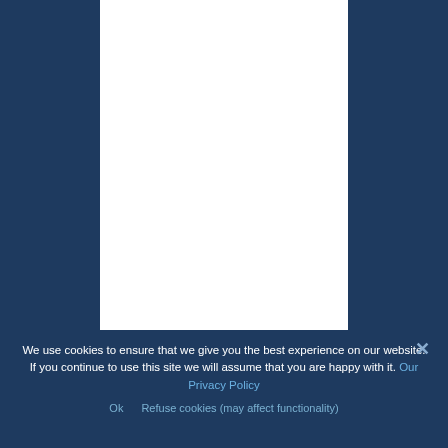[Figure (other): White rectangular panel overlaid on dark navy blue background]
We use cookies to ensure that we give you the best experience on our website. If you continue to use this site we will assume that you are happy with it. Our Privacy Policy
Ok   Refuse cookies (may affect functionality)